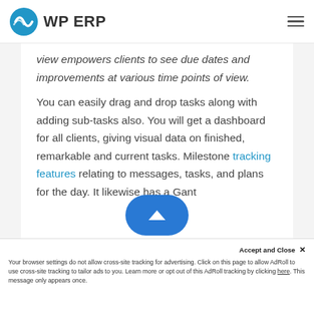WP ERP
view empowers clients to see due dates and improvements at various time points of view.
You can easily drag and drop tasks along with adding sub-tasks also. You will get a dashboard for all clients, giving visual data on finished, remarkable and current tasks. Milestone tracking features relating to messages, tasks, and plans for the day. It likewise has a Gant
Accept and Close ✕
Your browser settings do not allow cross-site tracking for advertising. Click on this page to allow AdRoll to use cross-site tracking to tailor ads to you. Learn more or opt out of this AdRoll tracking by clicking here. This message only appears once.